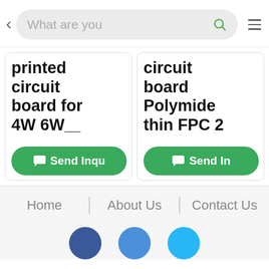< What are you [search bar with icon] ≡
printed circuit board for 4W 6W...
circuit board Polymide thin FPC 2
Send Inquiry
Send In...
Home | About Us | Contact Us